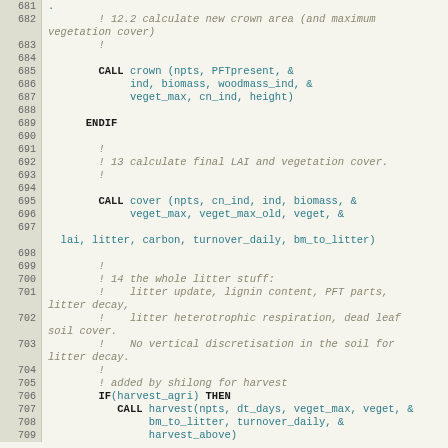[Figure (screenshot): Source code listing in Fortran-like language, lines 681-709, showing subroutine calls for crown area calculation, LAI/vegetation cover, litter processing, and harvest operations. Line numbers in left column with beige background, code in teal/dark monospace font.]